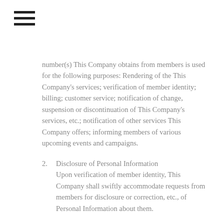number(s) This Company obtains from members is used for the following purposes: Rendering of the This Company's services; verification of member identity; billing; customer service; notification of change, suspension or discontinuation of This Company's services, etc.; notification of other services This Company offers; informing members of various upcoming events and campaigns.
2. Disclosure of Personal Information
Upon verification of member identity, This Company shall swiftly accommodate requests from members for disclosure or correction, etc., of Personal Information about them.
3. Use and disclosure of Personal Information
This Company obtains members' Personal Information to the extent necessary to render services, uses and discloses such information within the scope of the stated purpose of use.